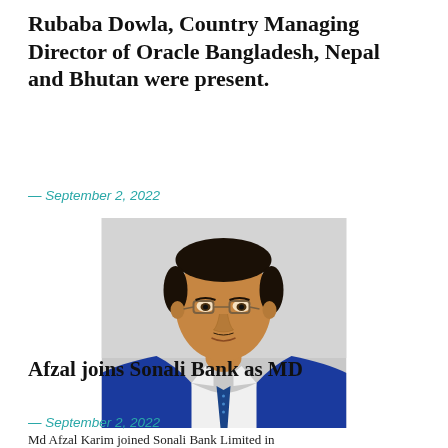Rubaba Dowla, Country Managing Director of Oracle Bangladesh, Nepal and Bhutan were present.
— September 2, 2022
[Figure (photo): Headshot photo of a middle-aged South Asian man wearing glasses, a white dress shirt, blue patterned tie, and blue checkered blazer, against a light background.]
Afzal joins Sonali Bank as MD
— September 2, 2022
Md Afzal Karim joined Sonali Bank Limited in